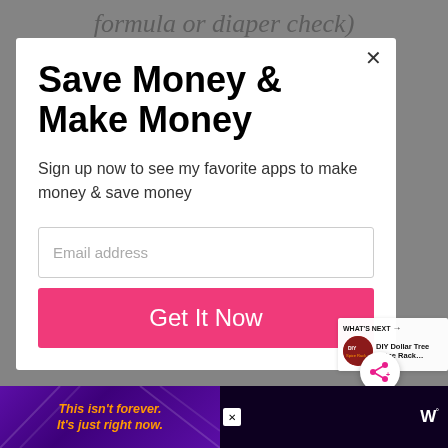formula or diaper check) combined with a coupon
Save Money & Make Money
Sign up now to see my favorite apps to make money & save money
Email address
Get It Now
WHAT'S NEXT → DIY Dollar Tree Spice Rack…
[Figure (screenshot): Purple/indigo advertisement banner at bottom: 'This isn't forever. It's just right now.' in orange italic text on purple background with decorative lines. W logo on right side.]